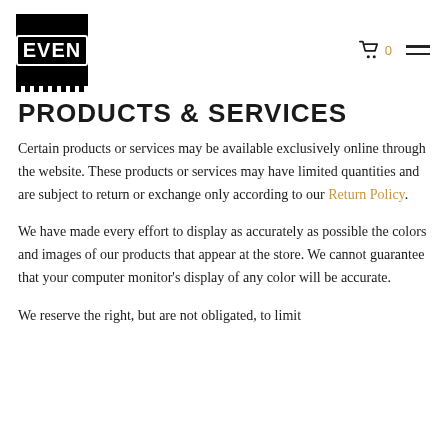EVEN logo with cart icon and menu icon
PRODUCTS & SERVICES
Certain products or services may be available exclusively online through the website. These products or services may have limited quantities and are subject to return or exchange only according to our Return Policy.
We have made every effort to display as accurately as possible the colors and images of our products that appear at the store. We cannot guarantee that your computer monitor’s display of any color will be accurate.
We reserve the right, but are not obligated, to limit